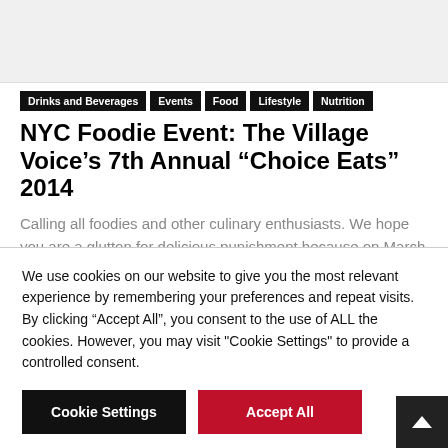[Figure (other): Gray placeholder image area at top of page]
Drinks and Beverages  Events  Food  Lifestyle  Nutrition
NYC Foodie Event: The Village Voice’s 7th Annual “Choice Eats” 2014
Calling all foodies and other culinary enthusiasts. We hope you are a glutton for delicious punishment because on March 25th, The Village Voice presents it’s...
We use cookies on our website to give you the most relevant experience by remembering your preferences and repeat visits. By clicking “Accept All”, you consent to the use of ALL the cookies. However, you may visit "Cookie Settings" to provide a controlled consent.
Cookie Settings
Accept All